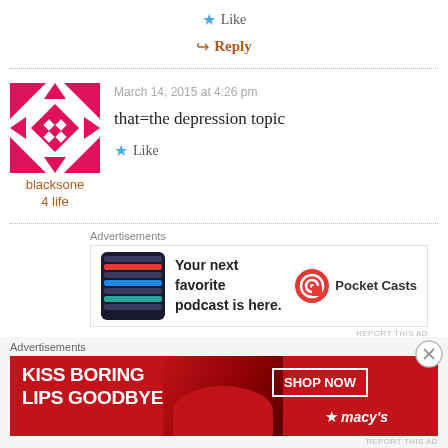Like
Reply
March 14, 2015 at 4:26 pm
that=the depression topic
blacksone 4 life
Like
Advertisements
[Figure (other): Pocket Casts advertisement: Your next favorite podcast is here.]
REPORT THIS AD
Advertisements
[Figure (other): Macy's advertisement: KISS BORING LIPS GOODBYE — SHOP NOW]